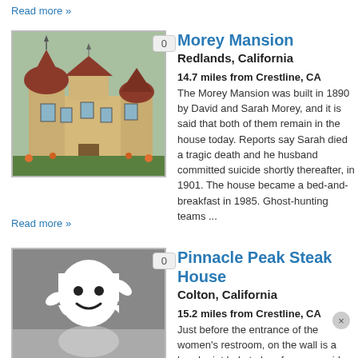Read more »
[Figure (photo): Photo of Morey Mansion, a Victorian-style house with red domed roofs and ornate details, surrounded by gardens]
Morey Mansion
Redlands, California
14.7 miles from Crestline, CA
The Morey Mansion was built in 1890 by David and Sarah Morey, and it is said that both of them remain in the house today. Reports say Sarah died a tragic death and her husband committed suicide shortly thereafter, in 1901. The house became a bed-and-breakfast in 1985. Ghost-hunting teams ...
Read more »
[Figure (illustration): Cartoon ghost illustration (white ghost with smile, on gray background) with reflection below]
Pinnacle Peak Steak House
Colton, California
15.2 miles from Crestline, CA
Just before the entrance of the women's restroom, on the wall is a hand print believed to be of a young girl who would eat there in the early 70's until her death in 1974.